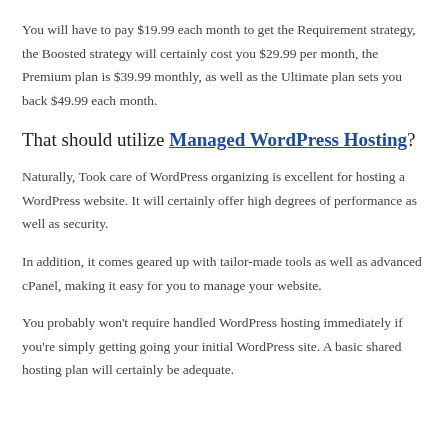You will have to pay $19.99 each month to get the Requirement strategy, the Boosted strategy will certainly cost you $29.99 per month, the Premium plan is $39.99 monthly, as well as the Ultimate plan sets you back $49.99 each month.
That should utilize Managed WordPress Hosting?
Naturally, Took care of WordPress organizing is excellent for hosting a WordPress website. It will certainly offer high degrees of performance as well as security.
In addition, it comes geared up with tailor-made tools as well as advanced cPanel, making it easy for you to manage your website.
You probably won't require handled WordPress hosting immediately if you're simply getting going your initial WordPress site. A basic shared hosting plan will certainly be adequate.